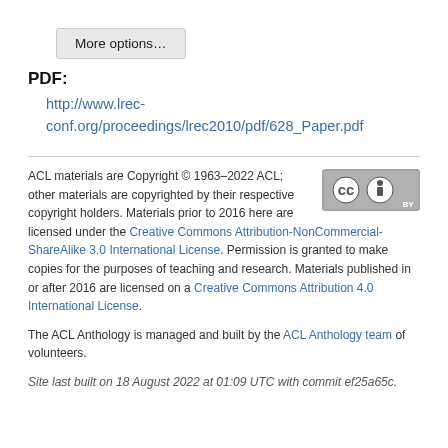More options…
PDF:
http://www.lrec-conf.org/proceedings/lrec2010/pdf/628_Paper.pdf
ACL materials are Copyright © 1963–2022 ACL; other materials are copyrighted by their respective copyright holders. Materials prior to 2016 here are licensed under the Creative Commons Attribution-NonCommercial-ShareAlike 3.0 International License. Permission is granted to make copies for the purposes of teaching and research. Materials published in or after 2016 are licensed on a Creative Commons Attribution 4.0 International License.
The ACL Anthology is managed and built by the ACL Anthology team of volunteers.
Site last built on 18 August 2022 at 01:09 UTC with commit ef25a65c.